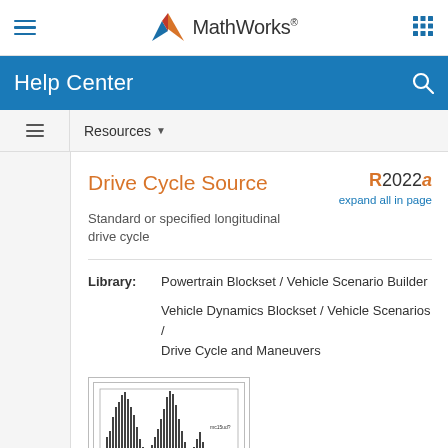MathWorks® — hamburger menu, grid icon navigation
Help Center
Resources
Drive Cycle Source
Standard or specified longitudinal drive cycle
R2022a  expand all in page
Library: Powertrain Blockset / Vehicle Scenario Builder
Vehicle Dynamics Blockset / Vehicle Scenarios / Drive Cycle and Maneuvers
[Figure (screenshot): Drive Cycle Source block diagram thumbnail showing a bar-chart style velocity profile signal]